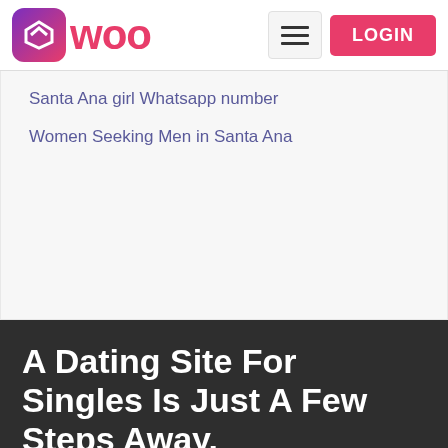WOO — LOGIN
Santa Ana girl Whatsapp number
Women Seeking Men in Santa Ana
A Dating Site For Singles Is Just A Few Steps Away.
Stop looking for your date at the wrong places and go for a fantastic and unparalleled dating experience. You never